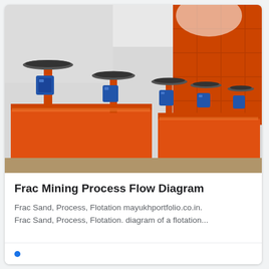[Figure (photo): Industrial flotation equipment: multiple orange rectangular tanks/cells with blue electric motors mounted on top, arranged in a row inside a warehouse or factory building. The equipment appears to be froth flotation cells used in mining/mineral processing.]
Frac Mining Process Flow Diagram
Frac Sand, Process, Flotation mayukhportfolio.co.in. Frac Sand, Process, Flotation. diagram of a flotation...